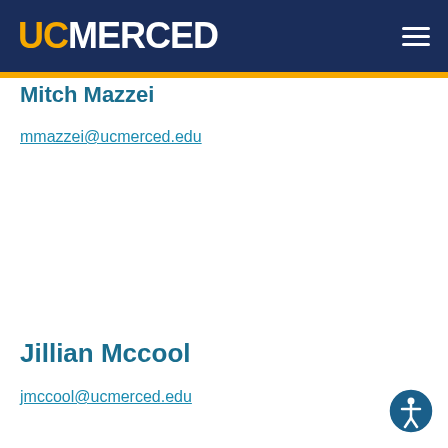UC MERCED
Mitch Mazzei
mmazzei@ucmerced.edu
Jillian Mccool
jmccool@ucmerced.edu